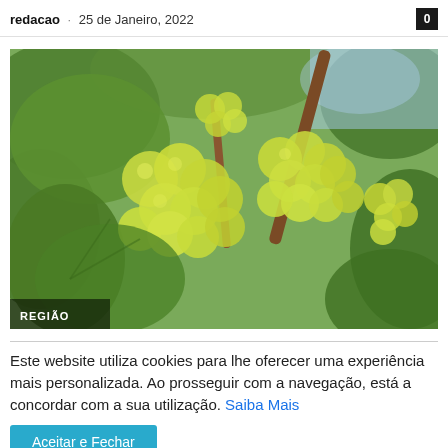redacao · 25 de Janeiro, 2022
[Figure (photo): Close-up photograph of clusters of green/yellow grapes on a vine with leaves in the background, with a 'REGIÃO' label overlay at the bottom left.]
Este website utiliza cookies para lhe oferecer uma experiência mais personalizada. Ao prosseguir com a navegação, está a concordar com a sua utilização. Saiba Mais
Aceitar e Fechar